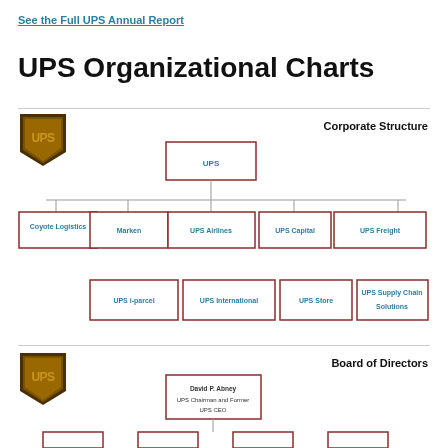See the Full UPS Annual Report
UPS Organizational Charts
[Figure (organizational-chart): UPS Corporate Structure org chart showing UPS at top, with five subsidiaries below: Coyote Logistics, Marken, UPS Airlines, UPS Capital, UPS Freight. Second row: UPS i-parcel, UPS International, UPS Store, UPS Supply Chain Solutions.]
[Figure (organizational-chart): UPS Board of Directors org chart showing David P. Abney (UPS Chairman and Former UPS CEO) at top, with partial view of boxes below.]